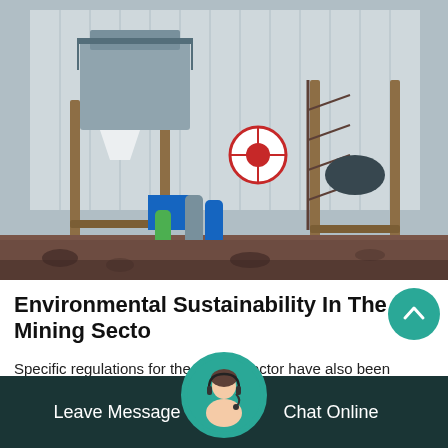[Figure (photo): Industrial mining equipment: two large metal processing machines on raised rusted steel platforms, gas cylinders in foreground, corrugated metal building in background, dirt ground.]
Environmental Sustainability In The Mining Sector
Specific regulations for the mining sector have also been enacted to deal with the environmental effects of mining operations. in spain,… and also in catalonia, the mining regime is regulated by the mines act
Leave Message   Chat Online